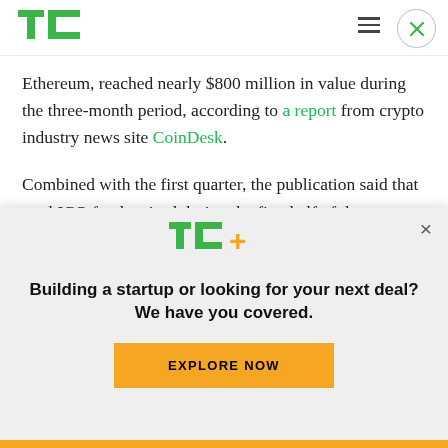TechCrunch logo, hamburger menu, close button
Ethereum, reached nearly $800 million in value during the three-month period, according to a report from crypto industry news site CoinDesk.
Combined with the first quarter, the publication said that total ICO funds raised during the first half of the year came in at $1.13 billion. CoinDesk's ICO tracker shows that 2017 to date — so January to
[Figure (logo): TechCrunch TC+ logo in green and yellow]
Building a startup or looking for your next deal? We have you covered.
EXPLORE NOW